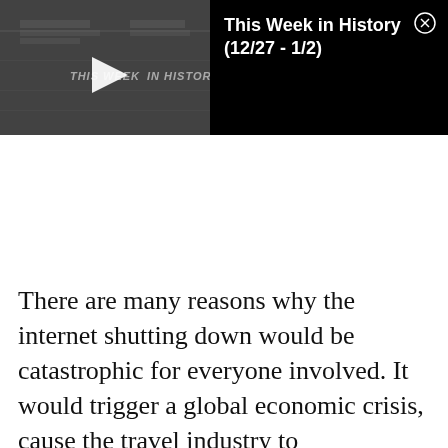[Figure (screenshot): Video thumbnail showing dark background with 'THIS WEEK IN HISTORY' text and a play button]
This Week in History (12/27 - 1/2)
There are many reasons why the internet shutting down would be catastrophic for everyone involved. It would trigger a global economic crisis, cause the travel industry to fall to its knees, and make millions upon million unemployed overnight. Life as we
fall to its knees, and make millions upon million unemployed overnight. Life as we